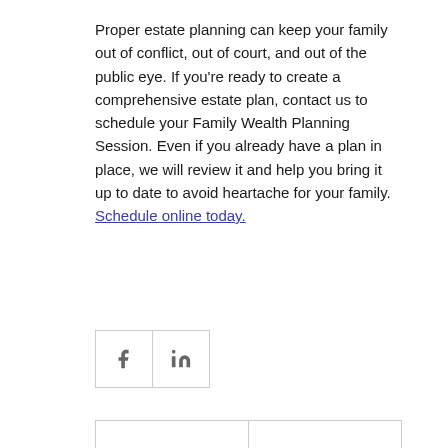Proper estate planning can keep your family out of conflict, out of court, and out of the public eye. If you're ready to create a comprehensive estate plan, contact us to schedule your Family Wealth Planning Session. Even if you already have a plan in place, we will review it and help you bring it up to date to avoid heartache for your family. Schedule online today.
[Figure (other): Social sharing buttons: Facebook (f) and LinkedIn (in) icons in bordered boxes]